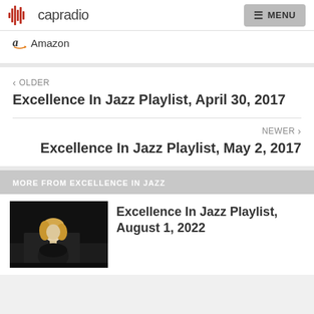capradio  MENU
Amazon
< OLDER
Excellence In Jazz Playlist, April 30, 2017
NEWER >
Excellence In Jazz Playlist, May 2, 2017
MORE FROM EXCELLENCE IN JAZZ
Excellence In Jazz Playlist, August 1, 2022
[Figure (photo): A blonde woman performing at a piano on a dark stage]